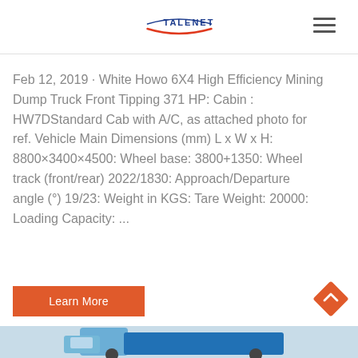TALENET
Feb 12, 2019 · White Howo 6X4 High Efficiency Mining Dump Truck Front Tipping 371 HP: Cabin : HW7DStandard Cab with A/C, as attached photo for ref. Vehicle Main Dimensions (mm) L x W x H: 8800×3400×4500: Wheel base: 3800+1350: Wheel track (front/rear) 2022/1830: Approach/Departure angle (°) 19/23: Weight in KGS: Tare Weight: 20000: Loading Capacity: ...
[Figure (other): Learn More button — orange/red rectangular button with white text]
[Figure (photo): Partial photo of a blue/white Howo mining dump truck at the bottom of the page]
[Figure (other): Back to top button — orange diamond shape with white chevron arrow]